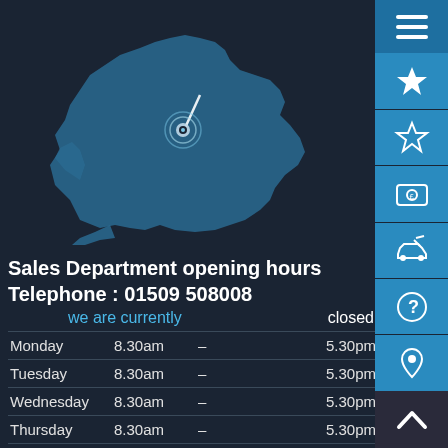[Figure (map): Map of England with a location pin marker in the center, shown as a blue silhouette on dark background]
Sales Department opening hours
Telephone : 01509 508008
we are currently   closed
| Day | Open |  | Close |
| --- | --- | --- | --- |
| Monday | 8.30am | – | 5.30pm |
| Tuesday | 8.30am | – | 5.30pm |
| Wednesday | 8.30am | – | 5.30pm |
| Thursday | 8.30am | – | 5.30pm |
| Friday | 8.30am | – | 5.30pm |
| Saturday | 8.30am | – | 4.30pm |
| Sunday | 10.30am | – | 3.30pm |
Service Department opening hours